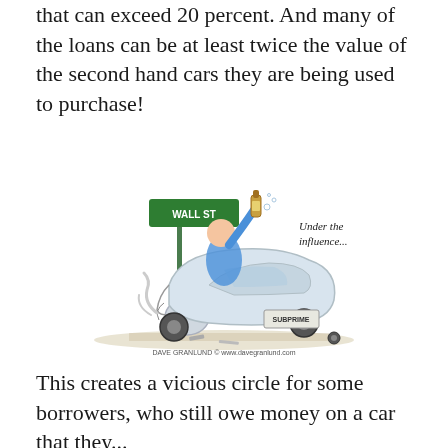that can exceed 20 percent. And many of the loans can be at least twice the value of the second hand cars they are being used to purchase!
[Figure (illustration): Editorial cartoon showing a crashed car at a Wall St street sign with a figure holding a liquor bottle. Text reads 'Under the influence...' and a license plate reads 'SUBPRIME'. Caption: Dave Granlund © www.davegranlund.com]
This creates a vicious circle for some borrowers, who still owe money on a car that they...